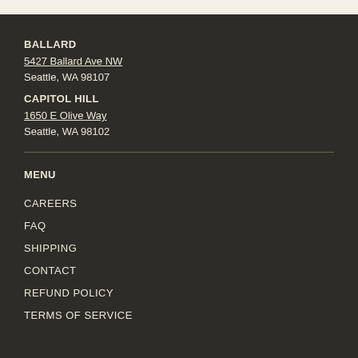BALLARD
5427 Ballard Ave NW
Seattle, WA 98107
CAPITOL HILL
1650 E Olive Way
Seattle, WA 98102
MENU
CAREERS
FAQ
SHIPPING
CONTACT
REFUND POLICY
TERMS OF SERVICE